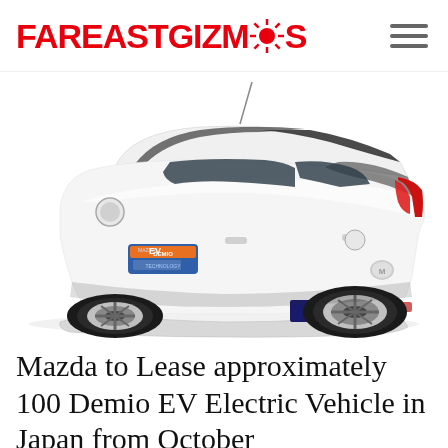FAREASTGIZMOS
[Figure (photo): Rear three-quarter view of a white Mazda Demio EV (electric vehicle) with 'Demio EV Technology' decals on the door and 'Demio EV' badging on the rear bumper, photographed against a white background.]
Mazda to Lease approximately 100 Demio EV Electric Vehicle in Japan from October